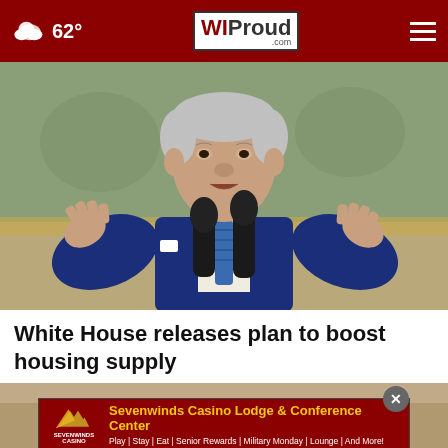62° WIProud.com
[Figure (photo): President Biden speaking at a podium with two microphones, wearing a blue suit and blue striped tie, hands raised gesturing, with a decorative background]
White House releases plan to boost housing supply
[Figure (photo): Second news story photo, partially visible, showing a light-colored surface]
Sevenwinds Casino Lodge & Conference Center — Play | Stay | Eat | Senior Rewards | Military Monday | Lounge | And More!